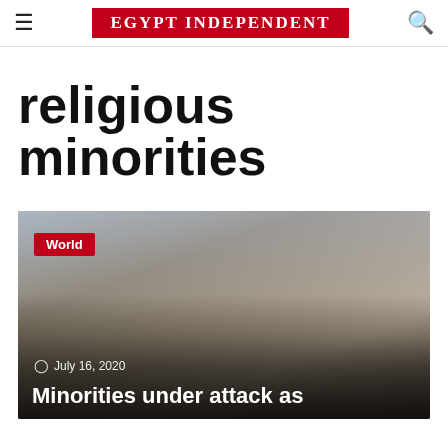EGYPT INDEPENDENT
religious minorities
[Figure (photo): A woman wearing a face mask and patterned shawl, holding a phone, seated outdoors near brick walls and potted plants. Category badge: World. Date: July 16, 2020. Headline: Minorities under attack as]
Minorities under attack as